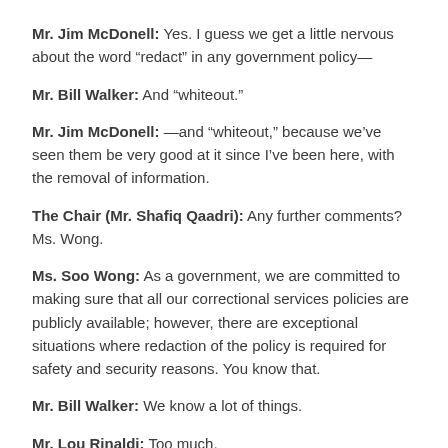Mr. Jim McDonell: Yes. I guess we get a little nervous about the word “redact” in any government policy—
Mr. Bill Walker: And “whiteout.”
Mr. Jim McDonell: —and “whiteout,” because we’ve seen them be very good at it since I’ve been here, with the removal of information.
The Chair (Mr. Shafiq Qaadri): Any further comments? Ms. Wong.
Ms. Soo Wong: As a government, we are committed to making sure that all our correctional services policies are publicly available; however, there are exceptional situations where redaction of the policy is required for safety and security reasons. You know that.
Mr. Bill Walker: We know a lot of things.
Mr. Lou Rinaldi: Too much.